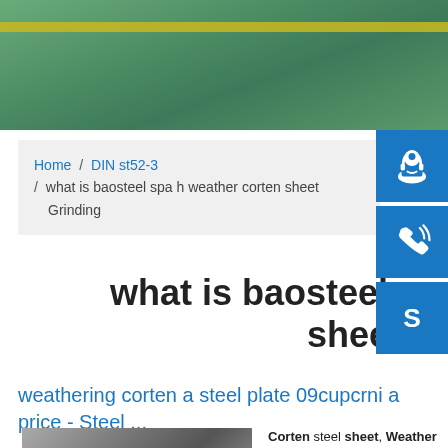[Figure (photo): Green steel yard / industrial surface photo used as hero banner]
Home / DIN st52-3 / what is baosteel spa h weather corten sheet Grinding
what is baosteel spa h weather corten sheet Grinding
weathering corten a steel plate 09cupcrni a price - Steel ...
Corten steel sheet, Weather resistant steel sheet price 09CuPCrNi-A corten steel